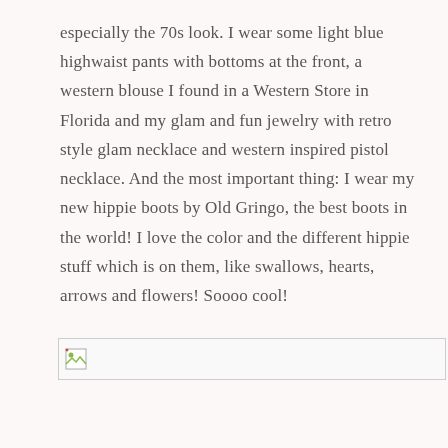especially the 70s look. I wear some light blue highwaist pants with bottoms at the front, a western blouse I found in a Western Store in Florida and my glam and fun jewelry with retro style glam necklace and western inspired pistol necklace. And the most important thing: I wear my new hippie boots by Old Gringo, the best boots in the world! I love the color and the different hippie stuff which is on them, like swallows, hearts, arrows and flowers! Soooo cool!
[Figure (photo): Broken/missing image placeholder shown as a small image icon inside a bordered rectangle]